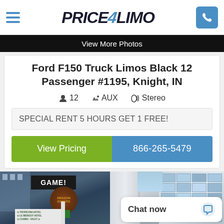Price4Limo
View More Photos
Ford F150 Truck Limos Black 12 Passenger #1195, Knight, IN
12  AUX  Stereo
SPECIAL RENT 5 HOURS GET 1 FREE!
View Pricing  866-265-5479
[Figure (photo): Street scene with GAME! sign, Dragon Donuts sign, Tropicana Hotel sign, and building windows]
Chat now